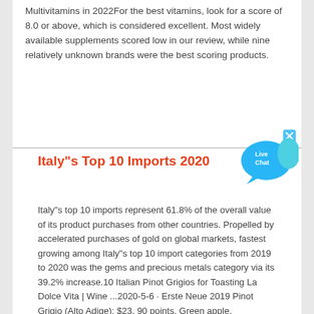Multivitamins in 2022For the best vitamins, look for a score of 8.0 or above, which is considered excellent. Most widely available supplements scored low in our review, while nine relatively unknown brands were the best scoring products.
Italy"s Top 10 Imports 2020
Italy"s top 10 imports represent 61.8% of the overall value of its product purchases from other countries. Propelled by accelerated purchases of gold on global markets, fastest growing among Italy"s top 10 import categories from 2019 to 2020 was the gems and precious metals category via its 39.2% increase.10 Italian Pinot Grigios for Toasting La Dolce Vita | Wine ...2020-5-6 · Erste Neue 2019 Pinot Grigio (Alto Adige): $23, 90 points. Green apple, elderflower and citrus aromas form the nose. The fruity sensations carry over to the medium-bodied palate along with creamy ...